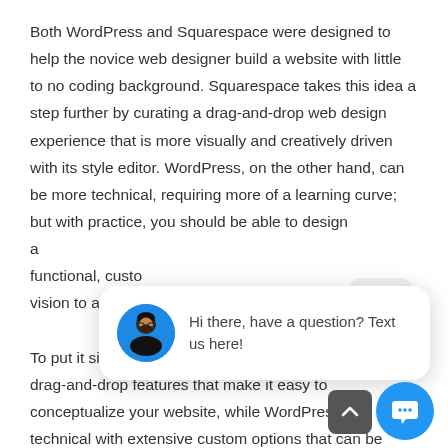Both WordPress and Squarespace were designed to help the novice web designer build a website with little to no coding background. Squarespace takes this idea a step further by curating a drag-and-drop web design experience that is more visually and creatively driven with its style editor. WordPress, on the other hand, can be more technical, requiring more of a learning curve; but with practice, you should be able to design a functional, custom website that matches your vision to a T.

To put it simply: Squarespace is more user-friendly, with drag-and-drop features that make it easy to visually conceptualize your website, while WordPress is more technical with extensive custom options that can be
[Figure (screenshot): Chat popup overlay showing avatar of a man and the message 'Hi there, have a question? Text us here!' with a close button and a blue circular chat icon at the bottom right.]